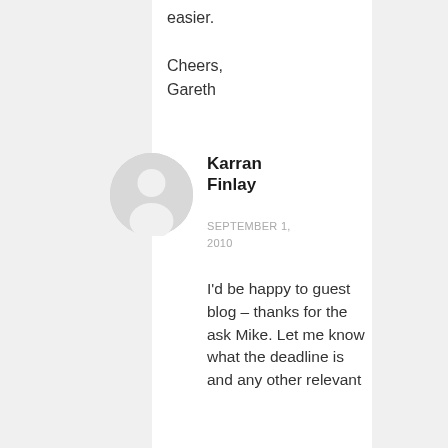easier.
Cheers,
Gareth
[Figure (illustration): Gray circular avatar icon with silhouette of a person]
Karran Finlay
SEPTEMBER 1, 2010
I'd be happy to guest blog – thanks for the ask Mike. Let me know what the deadline is and any other relevant